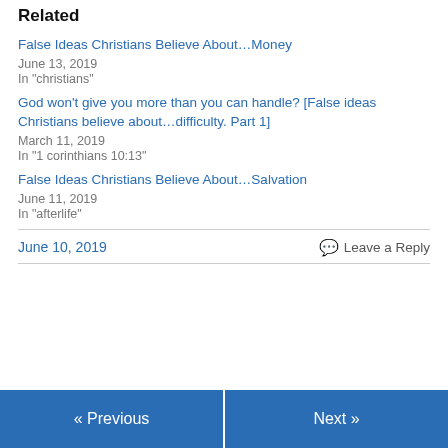Related
False Ideas Christians Believe About…Money
June 13, 2019
In "christians"
God won't give you more than you can handle? [False ideas Christians believe about…difficulty. Part 1]
March 11, 2019
In "1 corinthians 10:13"
False Ideas Christians Believe About…Salvation
June 11, 2019
In "afterlife"
June 10, 2019
Leave a Reply
« Previous
Next »